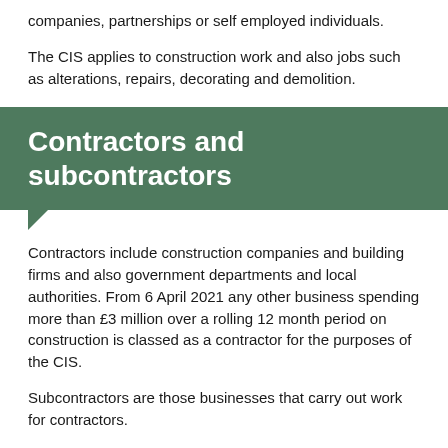companies, partnerships or self employed individuals.
The CIS applies to construction work and also jobs such as alterations, repairs, decorating and demolition.
Contractors and subcontractors
Contractors include construction companies and building firms and also government departments and local authorities. From 6 April 2021 any other business spending more than £3 million over a rolling 12 month period on construction is classed as a contractor for the purposes of the CIS.
Subcontractors are those businesses that carry out work for contractors.
Many businesses act as both contractors and subcontractors.